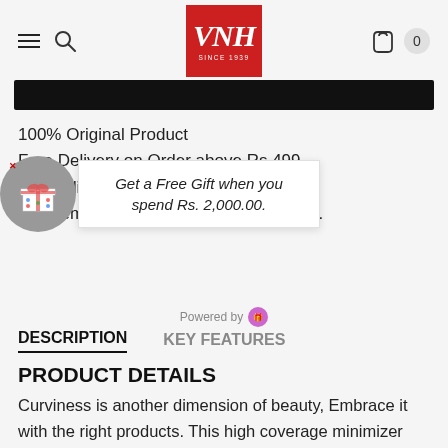VNH SINCE 1939 — navigation header with logo, search, and cart (0 items)
[Figure (screenshot): Black promotional banner bar]
100% Original Product
Free Delivery on Order above Rs.499
Pan India delivery available
The item is only returnable if is not used.
[Figure (infographic): Gift popup widget with gift box icon in grey circle and speech bubble: Get a Free Gift when you spend Rs. 2,000.00. Powered by icon.]
Powered by [gift app icon]
DESCRIPTION   KEY FEATURES
PRODUCT DETAILS
Curviness is another dimension of beauty, Embrace it with the right products. This high coverage minimizer bra offers you a "one size smaller look" of your breasts and portrays you gracefully in any outerwear.